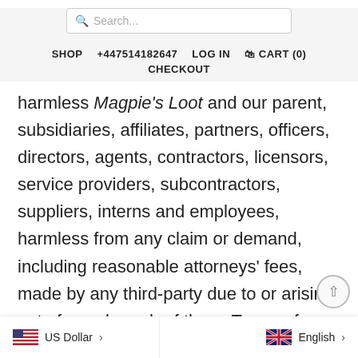Search... SHOP +447514182647 LOG IN CART (0) CHECKOUT
harmless Magpie's Loot and our parent, subsidiaries, affiliates, partners, officers, directors, agents, contractors, licensors, service providers, subcontractors, suppliers, interns and employees, harmless from any claim or demand, including reasonable attorneys' fees, made by any third-party due to or arising out of your breach of these Terms of Service or the documents they incorporate by reference, or your violation of any law or the rights